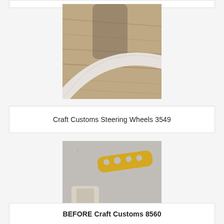[Figure (photo): Close-up photo of a steering wheel edge against a wooden surface, showing the curved rim with serrated edge detail.]
Craft Customs Steering Wheels 3549
[Figure (photo): Photo of two automotive parts on a grey speckled surface: a yellow metal steering wheel spoke bracket with holes, and a beige/cream colored steering wheel hub piece.]
BEFORE Craft Customs 8560